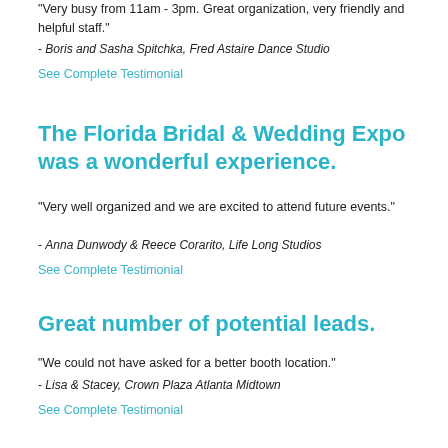"Very busy from 11am - 3pm. Great organization, very friendly and helpful staff."
- Boris and Sasha Spitchka, Fred Astaire Dance Studio
See Complete Testimonial
The Florida Bridal & Wedding Expo was a wonderful experience.
"Very well organized and we are excited to attend future events."
- Anna Dunwody & Reece Corarito, Life Long Studios
See Complete Testimonial
Great number of potential leads.
"We could not have asked for a better booth location."
- Lisa & Stacey, Crown Plaza Atlanta Midtown
See Complete Testimonial